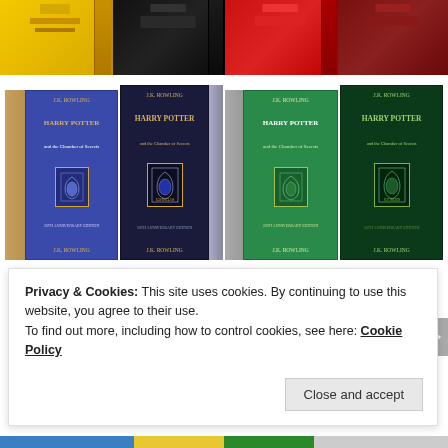[Figure (photo): Harry Potter and the Chamber of Secrets house edition book covers: top row shows partial views of yellow/Hufflepuff, black/Ravenclaw dark, red/Gryffindor, and dark brown/Slytherin editions. Bottom row shows complete paperback and hardcover editions for Ravenclaw (blue) and Slytherin (green), with spines visible.]
[Figure (screenshot): Green banner/button area partially visible behind cookie notice]
Privacy & Cookies: This site uses cookies. By continuing to use this website, you agree to their use.
To find out more, including how to control cookies, see here: Cookie Policy
Close and accept